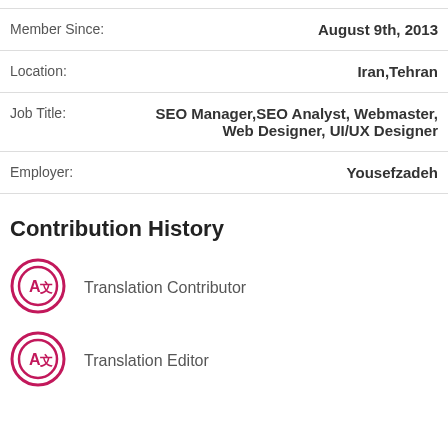| Field | Value |
| --- | --- |
| Member Since: | August 9th, 2013 |
| Location: | Iran,Tehran |
| Job Title: | SEO Manager,SEO Analyst, Webmaster, Web Designer, UI/UX Designer |
| Employer: | Yousefzadeh |
Contribution History
Translation Contributor
Translation Editor